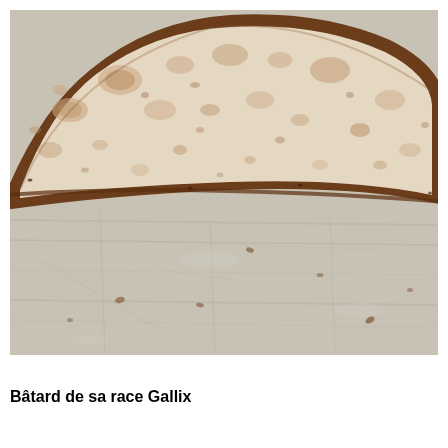[Figure (photo): Close-up photo of a sliced loaf of bread showing the crumb texture with irregular open holes, a brown crust, placed on a light-colored wooden cutting board with bread crumbs scattered around.]
Bâtard de sa race Gallix